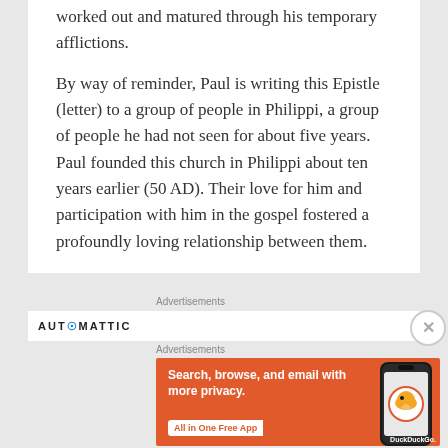worked out and matured through his temporary afflictions.
By way of reminder, Paul is writing this Epistle (letter) to a group of people in Philippi, a group of people he had not seen for about five years. Paul founded this church in Philippi about ten years earlier (50 AD). Their love for him and participation with him in the gospel fostered a profoundly loving relationship between them.
Advertisements
[Figure (logo): AUTOMATTIC logo in uppercase bold text]
Advertisements
[Figure (screenshot): DuckDuckGo advertisement banner with orange background showing 'Search, browse, and email with more privacy. All in One Free App' with a phone image and DuckDuckGo logo]